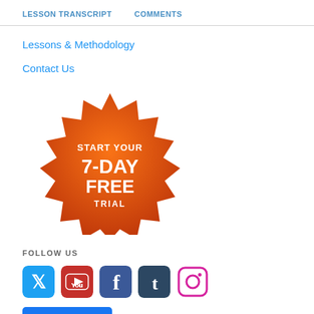LESSON TRANSCRIPT   COMMENTS
Lessons & Methodology
Contact Us
[Figure (illustration): Orange starburst badge with text: START YOUR 7-DAY FREE TRIAL]
FOLLOW US
[Figure (infographic): Row of social media icons: Twitter (blue), YouTube (red), Facebook (dark blue), Tumblr (navy), Instagram (pink/magenta). Below: Like 14K button in Facebook blue.]